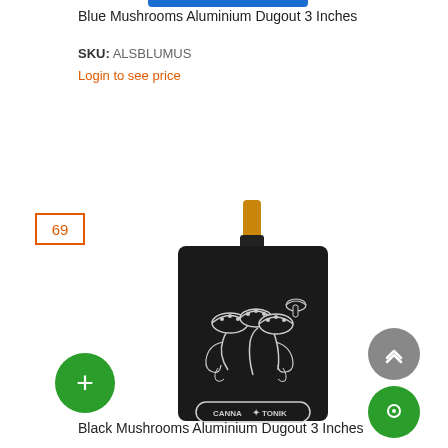Blue Mushrooms Aluminium Dugout 3 Inches
SKU: ALSBLUMUS
Login to see price
69
[Figure (photo): Black aluminium dugout box with mushroom engraving and Canna Tonik logo, with a yellow/orange one-hitter pipe visible at top]
Black Mushrooms Aluminium Dugout 3 Inches